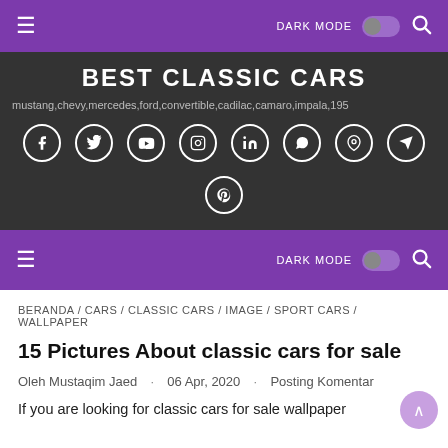DARK MODE [toggle] [search] — top navigation bar (purple)
BEST CLASSIC CARS
mustang,chevy,mercedes,ford,convertible,cadilac,camaro,impala,195
[Figure (infographic): Row of social media icon circles: Facebook, Twitter, YouTube, Instagram, LinkedIn, WhatsApp, Google Maps, Telegram, Pinterest]
DARK MODE [toggle] [search] — second navigation bar (purple)
BERANDA / CARS / CLASSIC CARS / IMAGE / SPORT CARS / WALLPAPER
15 Pictures About classic cars for sale
Oleh Mustaqim Jaed · 06 Apr, 2020 · Posting Komentar
If you are looking for classic cars for sale wallpaper